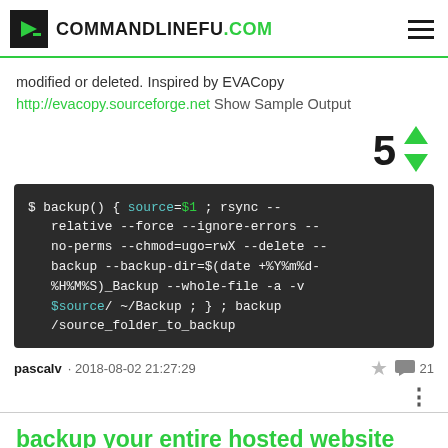COMMANDLINEFU.COM
modified or deleted. Inspired by EVACopy http://evacopy.sourceforge.net Show Sample Output
5
[Figure (screenshot): Dark terminal code block showing bash backup function: $ backup() { source=$1 ; rsync --relative --force --ignore-errors --no-perms --chmod=ugo=rwX --delete --backup --backup-dir=$(date +%Y%m%d-%H%M%S)_Backup --whole-file -a -v $source/ ~/Backup ; } ; backup /source_folder_to_backup]
pascalv · 2018-08-02 21:27:29  ☆ 💬 21
backup your entire hosted website using cPanel backup interface and wget